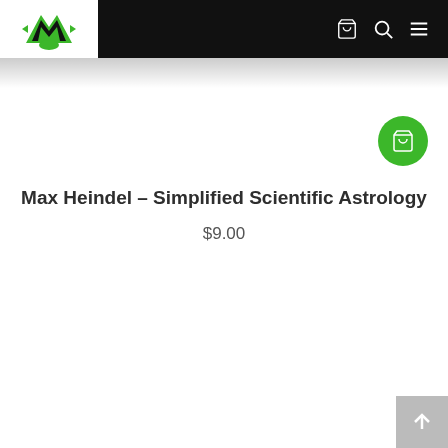Navigation bar with logo, cart, search, and menu icons
[Figure (logo): Green and black stylized letter M logo on white background]
Max Heindel – Simplified Scientific Astrology
$9.00